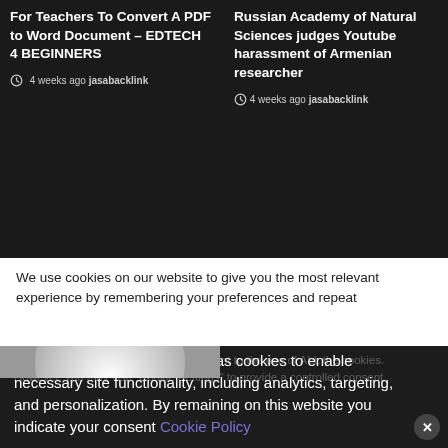For Teachers To Convert A PDF to Word Document – EDTECH 4 BEGINNERS
4 weeks ago  jasabacklink
Russian Academy of Natural Sciences judges Youtube harassment of Armenian researcher
4 weeks ago  jasabacklink
[Figure (photo): Placeholder image with grey background and white circular shape]
We use cookies on our website to give you the most relevant experience by remembering your preferences and repeat
visits. By clicking "Accept All", you consent to the use of ALL the cookies. However, you may visit "Cookie Settings" to provide a controlled consent.
This website stores data such as cookies to enable necessary site functionality, including analytics, targeting, and personalization. By remaining on this website you indicate your consent Cookie Policy